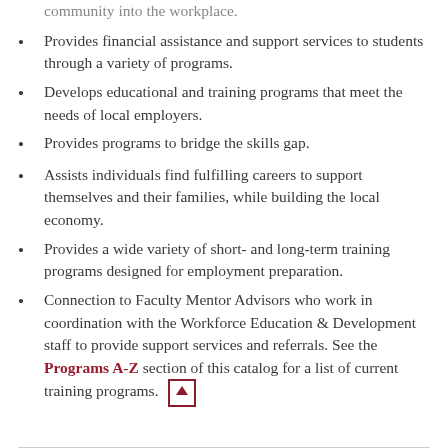community into the workplace.
Provides financial assistance and support services to students through a variety of programs.
Develops educational and training programs that meet the needs of local employers.
Provides programs to bridge the skills gap.
Assists individuals find fulfilling careers to support themselves and their families, while building the local economy.
Provides a wide variety of short- and long-term training programs designed for employment preparation.
Connection to Faculty Mentor Advisors who work in coordination with the Workforce Education & Development staff to provide support services and referrals. See the Programs A-Z section of this catalog for a list of current training programs.